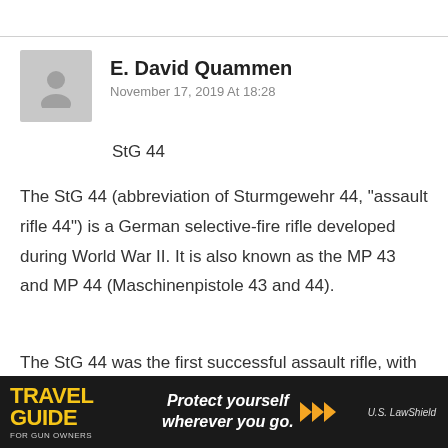E. David Quammen
November 17, 2019 At 18:28
StG 44
The StG 44 (abbreviation of Sturmgewehr 44, “assault rifle 44”) is a German selective-fire rifle developed during World War II. It is also known as the MP 43 and MP 44 (Maschinenpistole 43 and 44).
The StG 44 was the first successful assault rifle, with features including a relatively short cartridge, controllable automatic fire, a more compact design than a battle rifle with a quicker rate of fire, and intended for hitting targets
[Figure (infographic): Travel Guide for Gun Owners advertisement banner with text 'Protect yourself wherever you go.' and U.S. LawShield logo]